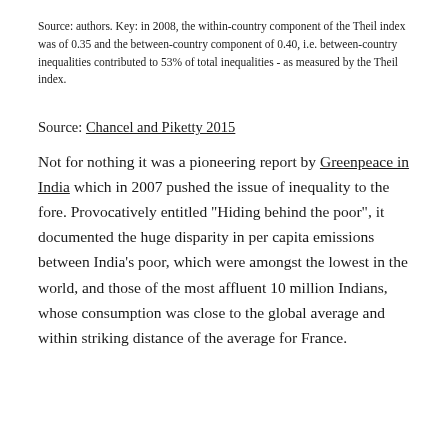Source: authors. Key: in 2008, the within-country component of the Theil index was of 0.35 and the between-country component of 0.40, i.e. between-country inequalities contributed to 53% of total inequalities - as measured by the Theil index.
Source: Chancel and Piketty 2015
Not for nothing it was a pioneering report by Greenpeace in India which in 2007 pushed the issue of inequality to the fore. Provocatively entitled "Hiding behind the poor", it documented the huge disparity in per capita emissions between India's poor, which were amongst the lowest in the world, and those of the most affluent 10 million Indians, whose consumption was close to the global average and within striking distance of the average for France.